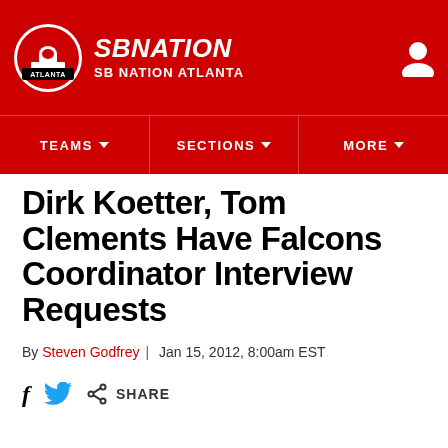SB NATION / SB NATION ATLANTA
Dirk Koetter, Tom Clements Have Falcons Coordinator Interview Requests
By Steven Godfrey | Jan 15, 2012, 8:00am EST
SHARE